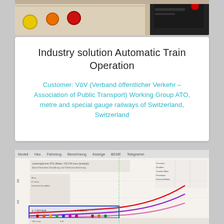[Figure (photo): Close-up photo of train control panel with yellow, orange, and red buttons on a beige surface, with a dark device in the upper right.]
Industry solution Automatic Train Operation
Customer: VöV (Verband öffentlicher Verkehr – Association of Public Transport) Working Group ATO, metre and special gauge railways of Switzerland, Switzerland
[Figure (engineering-diagram): Blurry screenshot of a train simulation or ATO software showing a Leistungskurve (performance curve) diagram with red, purple, and pink curves rising steeply on the right side, and a data table with parameters on the upper left. A blue highlighted box with colored dots appears at the bottom of the diagram. The software toolbar shows menu items at the top.]